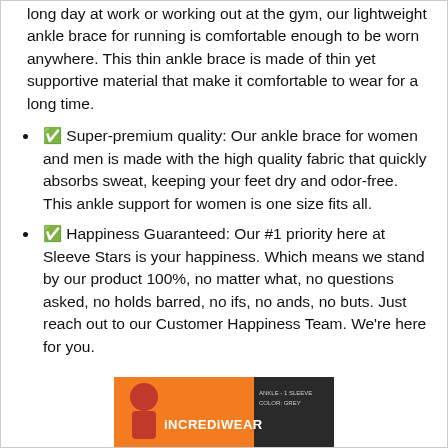long day at work or working out at the gym, our lightweight ankle brace for running is comfortable enough to be worn anywhere. This thin ankle brace is made of thin yet supportive material that make it comfortable to wear for a long time.
✅ Super-premium quality: Our ankle brace for women and men is made with the high quality fabric that quickly absorbs sweat, keeping your feet dry and odor-free. This ankle support for women is one size fits all.
✅ Happiness Guaranteed: Our #1 priority here at Sleeve Stars is your happiness. Which means we stand by our product 100%, no matter what, no questions asked, no holds barred, no ifs, no ands, no buts. Just reach out to our Customer Happiness Team. We're here for you.
[Figure (photo): Product image of Incrediwear ankle sleeve packaging with orange and black design]